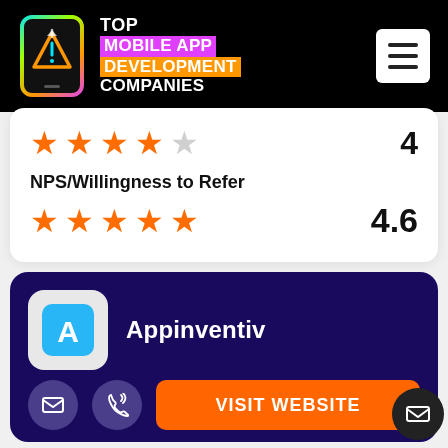TOP MOBILE APP DEVELOPMENT COMPANIES
★★★★☆  4
NPS/Willingness to Refer
★★★★★  4.6
Appinventiv
VISIT WEBSITE